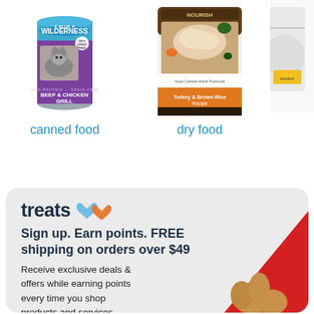[Figure (photo): Blue Wilderness canned dog food - Beef & Chicken Grill, with wolf image on purple label]
canned food
[Figure (photo): Dry dog food bag showing turkey & brown rice recipe with photo of sliced chicken]
dry food
[Figure (photo): Partially visible third product on right edge]
[Figure (infographic): Treats loyalty program banner with blue and orange hearts logo, sign up offer for free shipping on orders over $49, with dog image and red diagonal decoration]
treats
Sign up. Earn points. FREE shipping on orders over $49
Receive exclusive deals & offers while earning points every time you shop products and services.